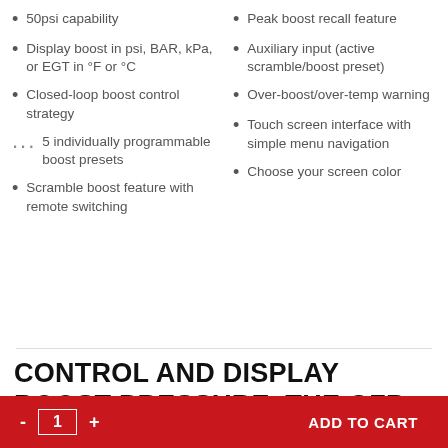50psi capability
Display boost in psi, BAR, kPa, or EGT in °F or °C
Closed-loop boost control strategy
5 individually programmable boost presets
Scramble boost feature with remote switching
Peak boost recall feature
Auxiliary input (active scramble/boost preset)
Over-boost/over-temp warning
Touch screen interface with simple menu navigation
Choose your screen color
CONTROL AND DISPLAY BOOST PRESSURE, THE GFB D-FORCE GIVES YOU THE ULTIMATE CONTROL OF YOUR
- 1 + ADD TO CART